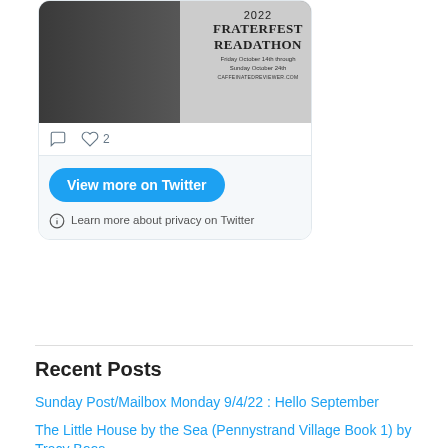[Figure (screenshot): Twitter/X embedded card showing a tweet with an image for '2022 Fraterfest Readathon, Friday October 14th through Sunday October 24th, cafferinatedreviewer.com'. Below the image are comment and like icons (2 likes), then a blue 'View more on Twitter' button, and a privacy note with an info icon reading 'Learn more about privacy on Twitter'.]
Recent Posts
Sunday Post/Mailbox Monday 9/4/22 : Hello September
The Little House by the Sea (Pennystrand Village Book 1) by Tracy Boos